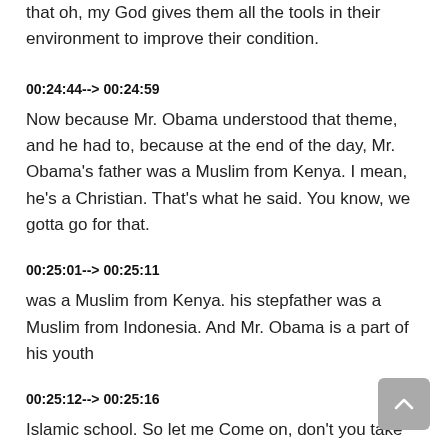that oh, my God gives them all the tools in their environment to improve their condition.
00:24:44--> 00:24:59
Now because Mr. Obama understood that theme, and he had to, because at the end of the day, Mr. Obama's father was a Muslim from Kenya. I mean, he's a Christian. That's what he said. You know, we gotta go for that.
00:25:01--> 00:25:11
was a Muslim from Kenya. his stepfather was a Muslim from Indonesia. And Mr. Obama is a part of his youth
00:25:12--> 00:25:16
Islamic school. So let me Come on, don't you take him?